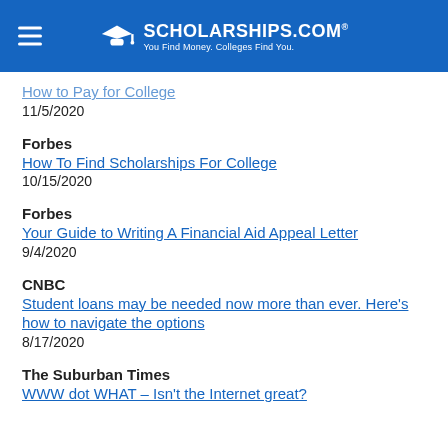SCHOLARSHIPS.COM — You Find Money. Colleges Find You.
How to Pay for College
11/5/2020
Forbes
How To Find Scholarships For College
10/15/2020
Forbes
Your Guide to Writing A Financial Aid Appeal Letter
9/4/2020
CNBC
Student loans may be needed now more than ever. Here's how to navigate the options
8/17/2020
The Suburban Times
WWW dot WHAT – Isn't the Internet great?